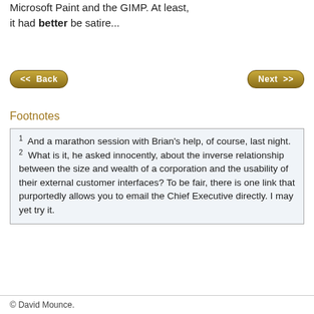Microsoft Paint and the GIMP. At least, it had better be satire...
[Figure (other): Navigation buttons: << Back and Next >>]
Footnotes
1  And a marathon session with Brian's help, of course, last night.
2  What is it, he asked innocently, about the inverse relationship between the size and wealth of a corporation and the usability of their external customer interfaces? To be fair, there is one link that purportedly allows you to email the Chief Executive directly. I may yet try it.
© David Mounce.